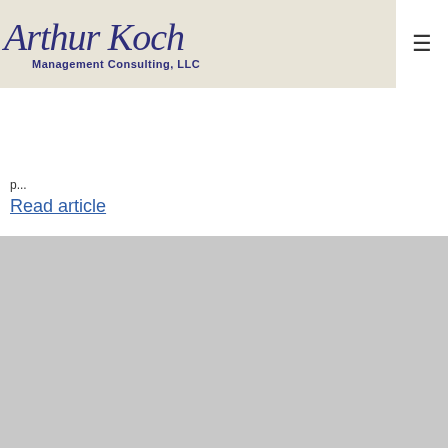[Figure (logo): Arthur Koch Management Consulting, LLC logo with script text and hamburger menu button]
p...
Read article
Categories: Art Koch Profit Chain® Tips, Supply Chain Entropy Busters®
[Figure (infographic): Subscribe to Art's Supply Chain Tips button with envelope icon on dark blue background]
Search ...
Recent Posts
Strong Relationships and Proactive Strategies